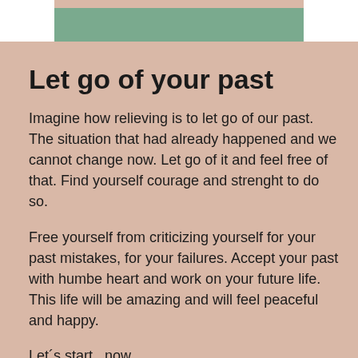[Figure (illustration): Top decorative bar with white panels on left and right and a sage green/teal rectangle in the center]
Let go of your past
Imagine how relieving is to let go of our past. The situation that had already happened and we cannot change now. Let go of it and feel free of that. Find yourself courage and strenght to do so.
Free yourself from criticizing yourself for your past mistakes, for your failures. Accept your past with humbe heart and work on your future life. This life will be amazing and will feel peaceful and happy.
Let´s start  now.
This present moment is the moment that